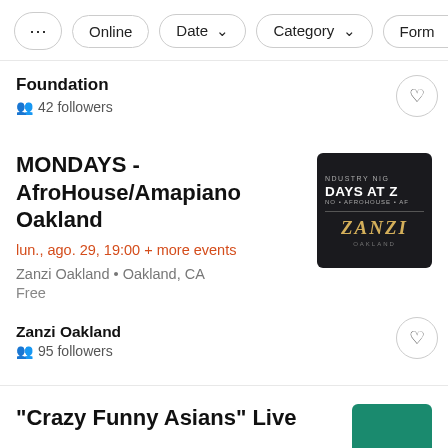≡  Online  Date ▾  Category ▾  Form
Foundation
42 followers
MONDAYS - AfroHouse/Amapiano Oakland
lun., ago. 29, 19:00 + more events
Zanzi Oakland • Oakland, CA
Free
[Figure (logo): Dark background image for MONDAYS AT ZANZI event, showing industry nights branding with ZANZI in gold italic text]
Zanzi Oakland
95 followers
"Crazy Funny Asians" Live